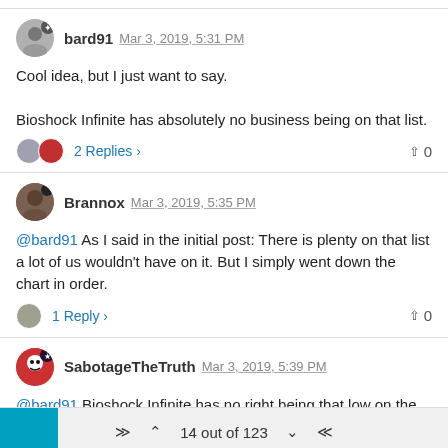bard91 Mar 3, 2019, 5:31 PM
Cool idea, but I just want to say.
Bioshock Infinite has absolutely no business being on that list.
2 Replies > 0
Brannox Mar 3, 2019, 5:35 PM
@bard91 As I said in the initial post: There is plenty on that list a lot of us wouldn't have on it. But I simply went down the chart in order.
1 Reply > 0
SabotageTheTruth Mar 3, 2019, 5:39 PM
@bard91 Bioshock Infinite has no right being that low on the list.* There, I fixed it.
14 out of 123